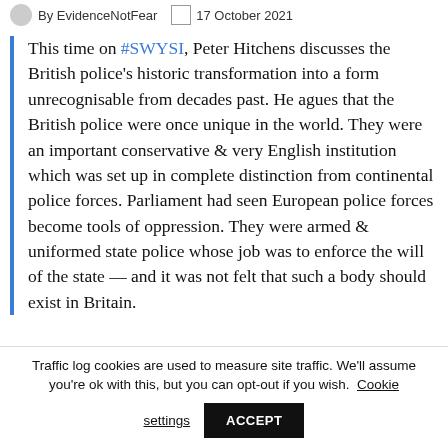By EvidenceNotFear   17 October 2021
This time on #SWYSI, Peter Hitchens discusses the British police's historic transformation into a form unrecognisable from decades past. He agues that the British police were once unique in the world. They were an important conservative & very English institution which was set up in complete distinction from continental police forces. Parliament had seen European police forces become tools of oppression. They were armed & uniformed state police whose job was to enforce the will of the state — and it was not felt that such a body should exist in Britain.
Traffic log cookies are used to measure site traffic. We'll assume you're ok with this, but you can opt-out if you wish. Cookie settings ACCEPT